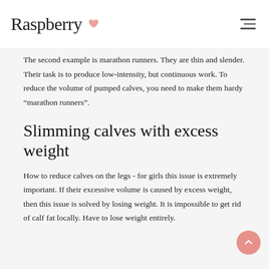Raspberry
The second example is marathon runners. They are thin and slender. Their task is to produce low-intensity, but continuous work. To reduce the volume of pumped calves, you need to make them hardy “marathon runners”.
Slimming calves with excess weight
How to reduce calves on the legs - for girls this issue is extremely important. If their excessive volume is caused by excess weight, then this issue is solved by losing weight. It is impossible to get rid of calf fat locally. Have to lose weight entirely.